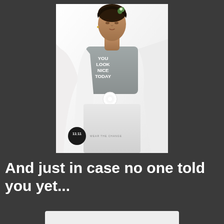[Figure (photo): Fashion photo of a woman with flowers in her hair, wearing a gray t-shirt that reads 'YOU LOOK NICE TODAY', a white cardigan and white pants, holding a white rose. A black circular logo with '11:11' and 'WEAR THE CHANGE' text appears at the bottom left of the image.]
And just in case no one told you yet...